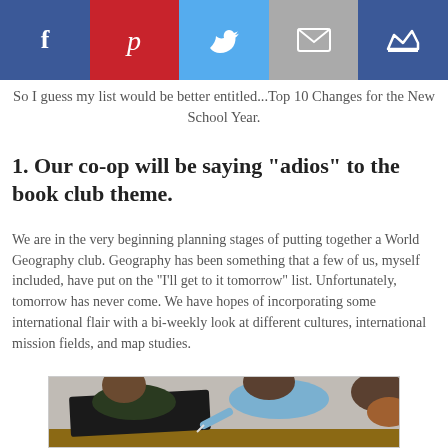[Figure (other): Social media share buttons bar: Facebook (blue), Pinterest (red), Twitter (light blue), Email (grey), Crown/other (dark blue)]
So I guess my list would be better entitled...Top 10 Changes for the New School Year.
1.  Our co-op will be saying "adios" to the book club theme.
We are in the very beginning planning stages of putting together a World Geography club.  Geography has been something that a few of us, myself included, have put on the "I'll get to it tomorrow" list.  Unfortunately, tomorrow has never come.  We have hopes of incorporating some international flair with a bi-weekly look at different cultures, international mission fields, and map studies.
[Figure (photo): Children sitting at a table working on papers, viewed from above/side angle. Two boys appear to be writing or drawing on dark paper.]